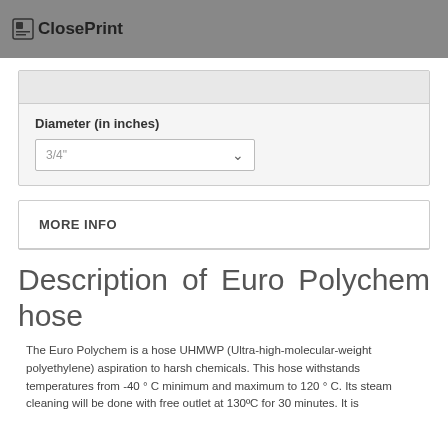ClosePrint
Diameter (in inches)
3/4"
MORE INFO
Description of Euro Polychem hose
The Euro Polychem is a hose UHMWP (Ultra-high-molecular-weight polyethylene) aspiration to harsh chemicals. This hose withstands temperatures from -40 ° C minimum and maximum to 120 ° C. Its steam cleaning will be done with free outlet at 130ºC for 30 minutes. It is